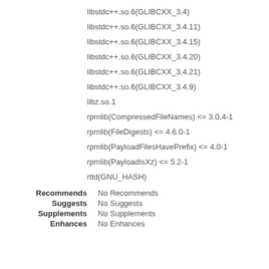libstdc++.so.6(GLIBCXX_3.4)
libstdc++.so.6(GLIBCXX_3.4.11)
libstdc++.so.6(GLIBCXX_3.4.15)
libstdc++.so.6(GLIBCXX_3.4.20)
libstdc++.so.6(GLIBCXX_3.4.21)
libstdc++.so.6(GLIBCXX_3.4.9)
libz.so.1
rpmlib(CompressedFileNames) <= 3.0.4-1
rpmlib(FileDigests) <= 4.6.0-1
rpmlib(PayloadFilesHavePrefix) <= 4.0-1
rpmlib(PayloadIsXz) <= 5.2-1
rtld(GNU_HASH)
Recommends   No Recommends
Suggests   No Suggests
Supplements   No Supplements
Enhances   No Enhances